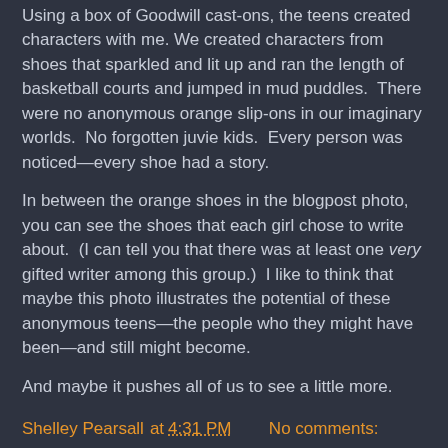Using a box of Goodwill cast-ons, the teens created characters with me. We created characters from shoes that sparkled and lit up and ran the length of basketball courts and jumped in mud puddles.  There were no anonymous orange slip-ons in our imaginary worlds.  No forgotten juvie kids.  Every person was noticed—every shoe had a story.
In between the orange shoes in the blogpost photo, you can see the shoes that each girl chose to write about.  (I can tell you that there was at least one very gifted writer among this group.)  I like to think that maybe this photo illustrates the potential of these anonymous teens—the people who they might have been—and still might become.
And maybe it pushes all of us to see a little more.
Shelley Pearsall at 4:31 PM    No comments:
Share
Monday, September 9, 2019